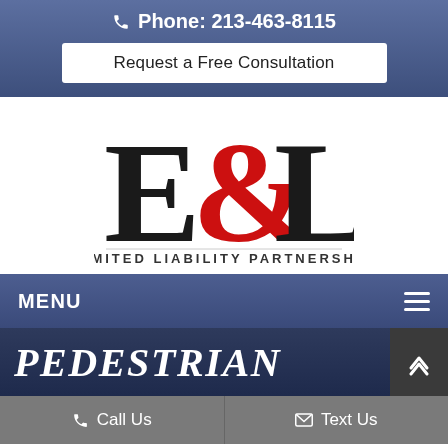Phone: 213-463-8115
Request a Free Consultation
[Figure (logo): E&L Limited Liability Partnership law firm logo with large black E and L letters and red ampersand]
MENU
PEDESTRIAN
Call Us
Text Us